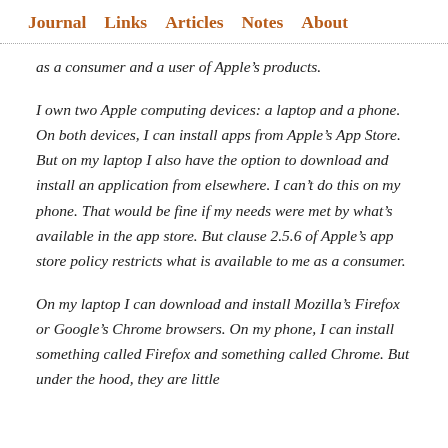Journal  Links  Articles  Notes  About
as a consumer and a user of Apple’s products.
I own two Apple computing devices: a laptop and a phone. On both devices, I can install apps from Apple’s App Store. But on my laptop I also have the option to download and install an application from elsewhere. I can’t do this on my phone. That would be fine if my needs were met by what’s available in the app store. But clause 2.5.6 of Apple’s app store policy restricts what is available to me as a consumer.
On my laptop I can download and install Mozilla’s Firefox or Google’s Chrome browsers. On my phone, I can install something called Firefox and something called Chrome. But under the hood, they are little